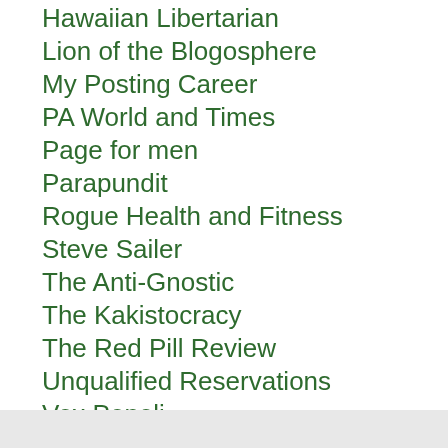Hawaiian Libertarian
Lion of the Blogosphere
My Posting Career
PA World and Times
Page for men
Parapundit
Rogue Health and Fitness
Steve Sailer
The Anti-Gnostic
The Kakistocracy
The Red Pill Review
Unqualified Reservations
Vox Popoli
West Hunter
Whiskey’s Place